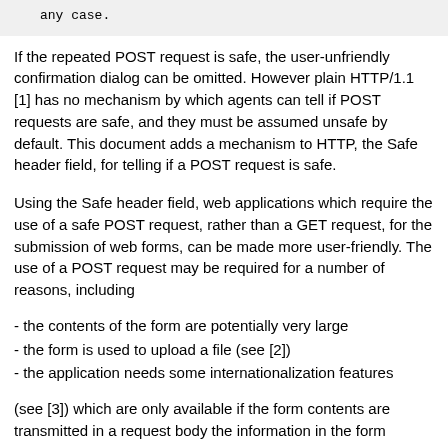any case.
If the repeated POST request is safe, the user-unfriendly confirmation dialog can be omitted. However plain HTTP/1.1 [1] has no mechanism by which agents can tell if POST requests are safe, and they must be assumed unsafe by default. This document adds a mechanism to HTTP, the Safe header field, for telling if a POST request is safe.
Using the Safe header field, web applications which require the use of a safe POST request, rather than a GET request, for the submission of web forms, can be made more user-friendly. The use of a POST request may be required for a number of reasons, including
- the contents of the form are potentially very large
- the form is used to upload a file (see [2])
- the application needs some internationalization features
(see [3]) which are only available if the form contents are transmitted in a request body the information in the form